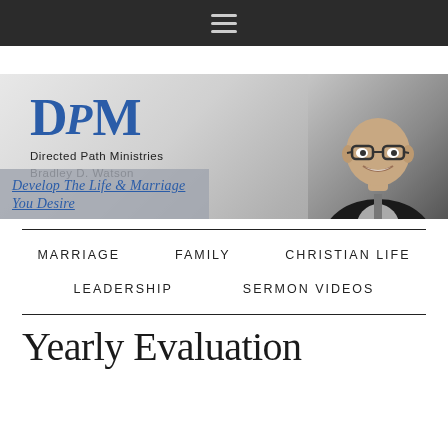Navigation menu (hamburger icon)
[Figure (illustration): Directed Path Ministries banner with DRM logo, text 'Directed Path Ministries / Bradley D. Watson', tagline 'Develop The Life & Marriage You Desire', and photo of a smiling bald man in glasses and dark suit]
MARRIAGE    FAMILY    CHRISTIAN LIFE
LEADERSHIP    SERMON VIDEOS
Yearly Evaluation